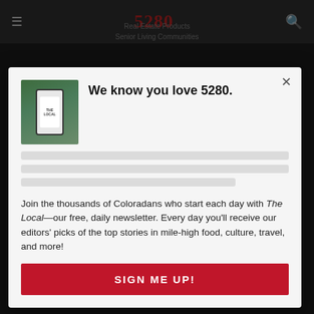5280
Real Estate Products
Senior Living Communities
[Figure (screenshot): Modal dialog on 5280 magazine website with newsletter signup prompt]
We know you love 5280.
Join the thousands of Coloradans who start each day with The Local—our free, daily newsletter. Every day you'll receive our editors' picks of the top stories in mile-high food, culture, travel, and more!
SIGN ME UP!
5280 Publishing, Inc.
About
Masthead
Advertising and Sponsorship Opportunities